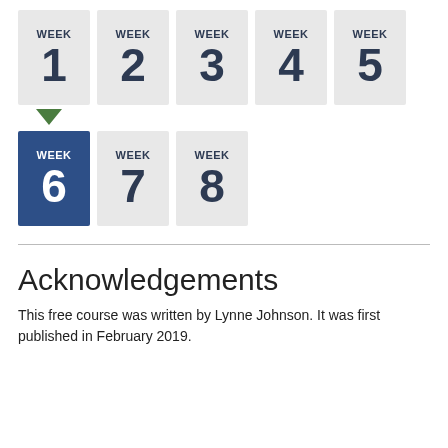[Figure (infographic): Week navigation tiles showing weeks 1-8. Week 6 is highlighted in dark blue as the active/current week. A green downward arrow points to week 6. Weeks 1-5 appear in the top row, weeks 6-8 in the bottom row.]
Acknowledgements
This free course was written by Lynne Johnson. It was first published in February 2019.